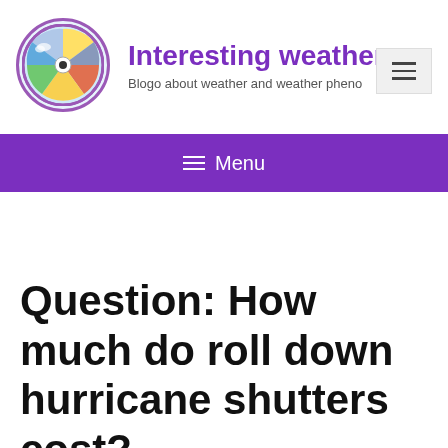Interesting weather e — Blogo about weather and weather pheno
Question: How much do roll down hurricane shutters cost?